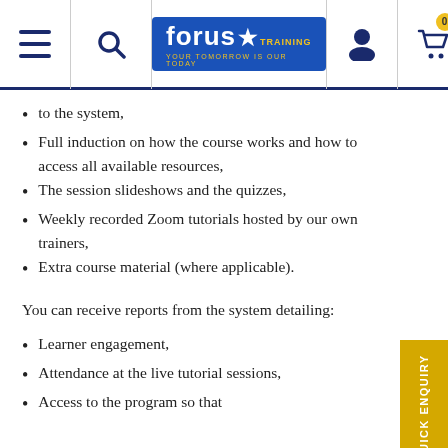[Figure (logo): Forus Training logo with navigation icons (hamburger menu, search, user, cart)]
to the system,
Full induction on how the course works and how to access all available resources,
The session slideshows and the quizzes,
Weekly recorded Zoom tutorials hosted by our own trainers,
Extra course material (where applicable).
You can receive reports from the system detailing:
Learner engagement,
Attendance at the live tutorial sessions,
Access to the program so that